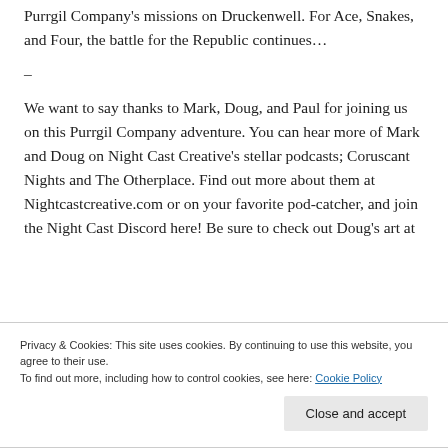Purrgil Company's missions on Druckenwell. For Ace, Snakes, and Four, the battle for the Republic continues…
–
We want to say thanks to Mark, Doug, and Paul for joining us on this Purrgil Company adventure. You can hear more of Mark and Doug on Night Cast Creative's stellar podcasts; Coruscant Nights and The Otherplace. Find out more about them at Nightcastcreative.com or on your favorite pod-catcher, and join the Night Cast Discord here! Be sure to check out Doug's art at
Privacy & Cookies: This site uses cookies. By continuing to use this website, you agree to their use.
To find out more, including how to control cookies, see here: Cookie Policy
Close and accept